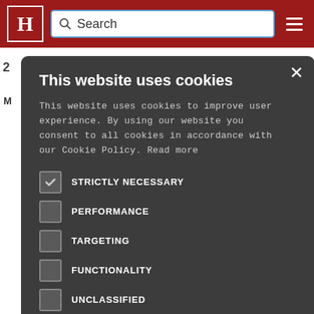H [logo] | Search | ☰
[Figure (screenshot): Cookie consent modal dialog on a news website. Title: 'This website uses cookies'. Body text: 'This website uses cookies to improve user experience. By using our website you consent to all cookies in accordance with our Cookie Policy. Read more'. Checkboxes: STRICTLY NECESSARY (checked), PERFORMANCE (unchecked), TARGETING (unchecked), FUNCTIONALITY (unchecked), UNCLASSIFIED (unchecked). Buttons: ACCEPT ALL (green), DECLINE ALL (outline). Footer: gear icon + SHOW DETAILS.]
This website uses cookies
This website uses cookies to improve user experience. By using our website you consent to all cookies in accordance with our Cookie Policy. Read more
STRICTLY NECESSARY
PERFORMANCE
TARGETING
FUNCTIONALITY
UNCLASSIFIED